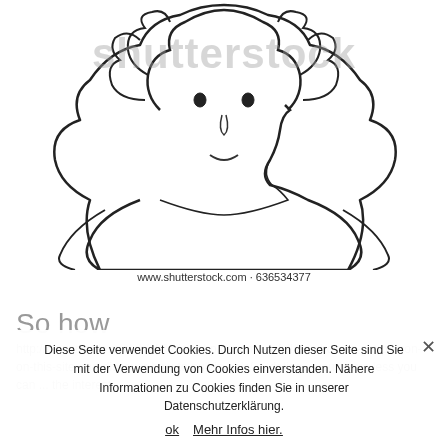[Figure (illustration): Hand-drawn sketch of a person/figure with curly hair and simple facial features, shown from the chest up. Shutterstock watermark overlaid on top.]
www.shutterstock.com · 636534377
So how
http://bewomanlove.club/ek/index.php/become-a-full/how-to-get-person-on-this-site-and-discover-how-to-pull-in-girls/ ... something ... dating... your more less you can ... the interest
Diese Seite verwendet Cookies. Durch Nutzen dieser Seite sind Sie mit der Verwendung von Cookies einverstanden. Nähere Informationen zu Cookies finden Sie in unserer Datenschutzerklärung.
ok   Mehr Infos hier.